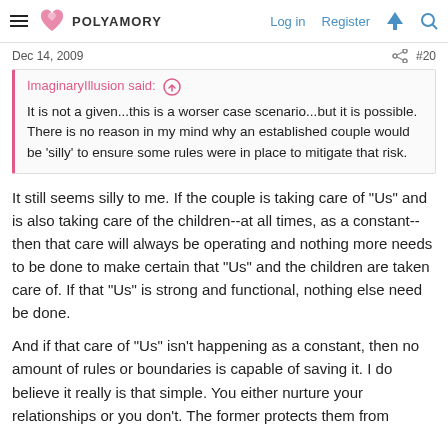POLYAMORY   Log in   Register
Dec 14, 2009   #20
ImaginaryIllusion said: ↑
It is not a given...this is a worser case scenario...but it is possible. There is no reason in my mind why an established couple would be 'silly' to ensure some rules were in place to mitigate that risk.
It still seems silly to me. If the couple is taking care of "Us" and is also taking care of the children--at all times, as a constant--then that care will always be operating and nothing more needs to be done to make certain that "Us" and the children are taken care of. If that "Us" is strong and functional, nothing else need be done.
And if that care of "Us" isn't happening as a constant, then no amount of rules or boundaries is capable of saving it. I do believe it really is that simple. You either nurture your relationships or you don't. The former protects them from